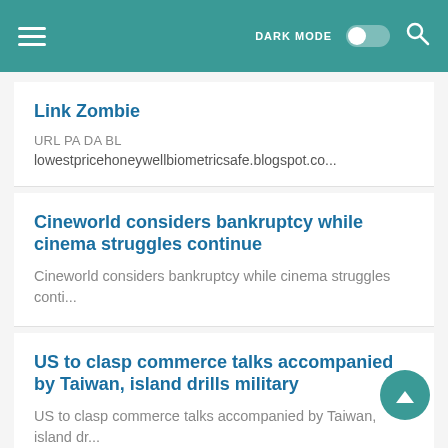DARK MODE [toggle] [search]
Link Zombie
URL PA DA BL
lowestpricehoneywellbiometricsafe.blogspot.co...
Cineworld considers bankruptcy while cinema struggles continue
Cineworld considers bankruptcy while cinema struggles conti...
US to clasp commerce talks accompanied by Taiwan, island drills military
US to clasp commerce talks accompanied by Taiwan, island dr...
Trik Sulap Karet Pindah Ke Hp